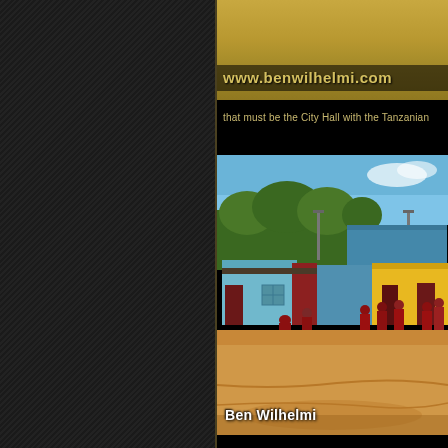[Figure (photo): Top portion of an outdoor scene with golden/tan dry ground or savanna landscape]
www.benwilhelmi.com
that must be the City Hall with the Tanzanian
[Figure (photo): Street scene in Tanzania showing colorful low buildings (blue, red, yellow) with Maasai people in red robes walking on a dusty dirt road, trees and blue sky in background. Credit: Ben Wilhelmi]
Ben Wilhelmi